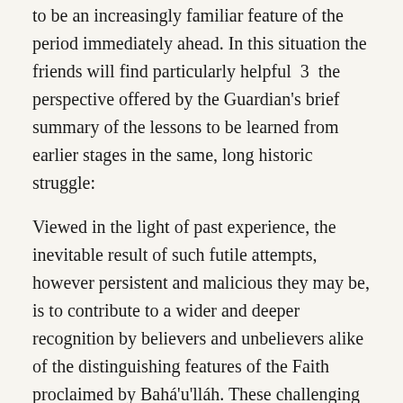to be an increasingly familiar feature of the period immediately ahead. In this situation the friends will find particularly helpful  3  the perspective offered by the Guardian's brief summary of the lessons to be learned from earlier stages in the same, long historic struggle:
Viewed in the light of past experience, the inevitable result of such futile attempts, however persistent and malicious they may be, is to contribute to a wider and deeper recognition by believers and unbelievers alike of the distinguishing features of the Faith proclaimed by Bahá'u'lláh. These challenging criticisms, whether or not dictated by malice, cannot but serve to galvanize the souls of its ardent supporters, and to consolidate the ranks of its faithful promoters. They will purge the Faith from those pernicious elements whose continued association with the believers tends to discredit the fair name of the Cause, and to tarnish the purity of its spirit. We should welcome